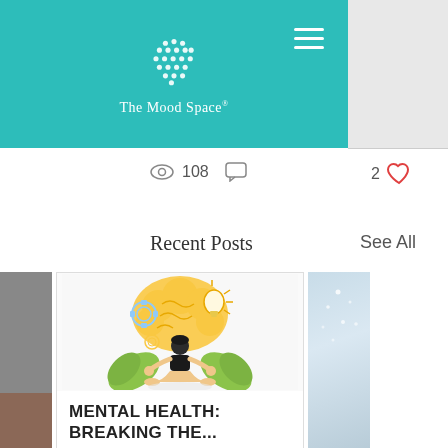[Figure (logo): The Mood Space logo: white dot-grid pattern forming a rounded shape on teal/turquoise background with brand name 'The Mood Space' in white serif font below. Hamburger menu icon in upper right. Grey strip on right side.]
108  2 ♥
Recent Posts
See All
[Figure (illustration): Illustration of a person sitting cross-legged in meditation pose. Above their head is a large yellow brain illustration with gear/cog shapes and a lightbulb. Green leaf shapes behind them. Calming, mental health themed illustration.]
MENTAL HEALTH: BREAKING THE...